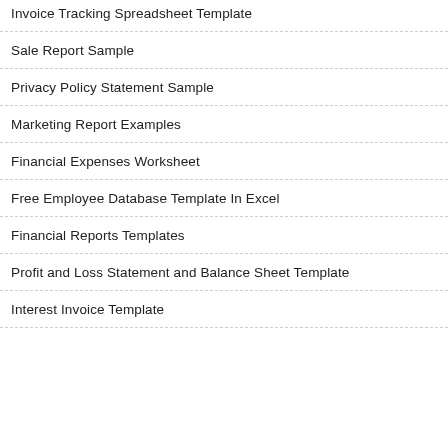Invoice Tracking Spreadsheet Template
Sale Report Sample
Privacy Policy Statement Sample
Marketing Report Examples
Financial Expenses Worksheet
Free Employee Database Template In Excel
Financial Reports Templates
Profit and Loss Statement and Balance Sheet Template
Interest Invoice Template